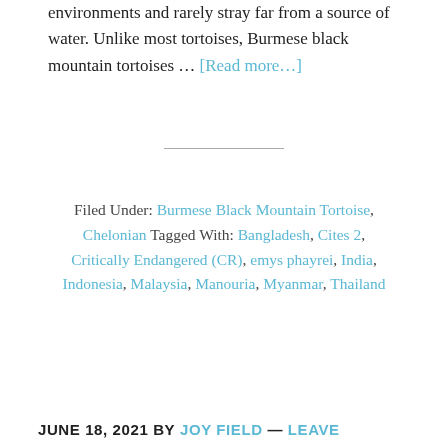environments and rarely stray far from a source of water. Unlike most tortoises, Burmese black mountain tortoises … [Read more…]
Filed Under: Burmese Black Mountain Tortoise, Chelonian Tagged With: Bangladesh, Cites 2, Critically Endangered (CR), emys phayrei, India, Indonesia, Malaysia, Manouria, Myanmar, Thailand
JUNE 18, 2021 BY JOY FIELD — LEAVE